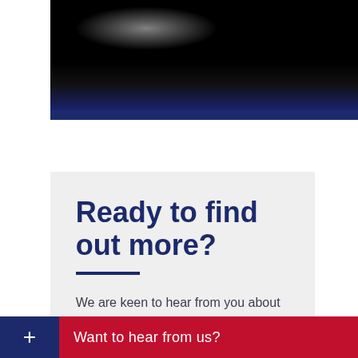[Figure (photo): Dark background image (black fading to navy) with a white/grey light glow effect at top, with a navy blue horizontal bar at bottom of image area]
Ready to find out more?
We are keen to hear from you about your IoT journey. Contact us to discuss further with our experienced consultants.
+ Want to hear from us?